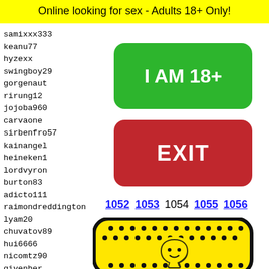Online looking for sex - Adults 18+ Only!
samixxx333
keanu77
hyzexx
swingboy29
gorgenaut
rirung12
jojoba960
carvaone
sirbenfro57
kainangel
heineken1
lordvyron
burton83
adicto111
raimondreddington
lyam20
chuvatov89
hui6666
nicomtz90
givenher
rad753
brock2
jaymo6
mikeyp
krupst
magicm
[Figure (illustration): Green rounded rectangle button with white bold text: I AM 18+]
[Figure (illustration): Red rounded rectangle button with white bold text: EXIT]
1052 1053 1054 1055 1056
[Figure (illustration): Snapchat ghost logo on yellow background with black rounded border, black dots pattern]